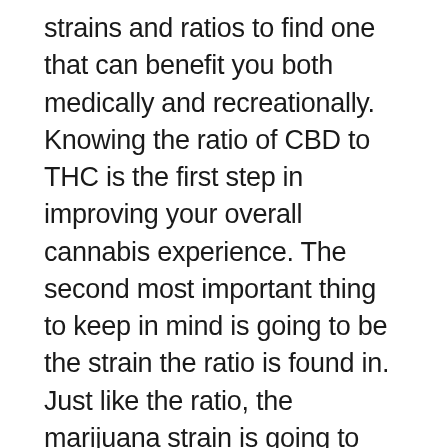strains and ratios to find one that can benefit you both medically and recreationally. Knowing the ratio of CBD to THC is the first step in improving your overall cannabis experience. The second most important thing to keep in mind is going to be the strain the ratio is found in. Just like the ratio, the marijuana strain is going to play a key role in overall outcomes. Each strain is grown to have certain properties and characteristics that will also influence how your body receives the cannabinoids. Heavy pain means some users will prefer a higher level of THC to give them more of a body buzz, and in large doses even knock them out.
If you're not, it will reduce the chances of